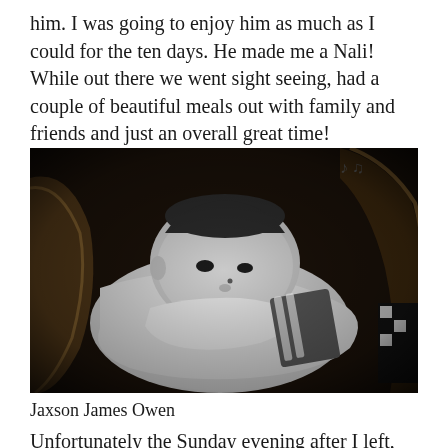him. I was going to enjoy him as much as I could for the ten days. He made me a Nali! While out there we went sight seeing, had a couple of beautiful meals out with family and friends and just an overall great time!
[Figure (photo): Black and white photograph of a newborn baby (Jaxson James Owen) lying in what appears to be a basket or cradle, with eyes partially open, wearing a white outfit with a blanket nearby]
Jaxson James Owen
Unfortunately the Sunday evening after I left, my boy